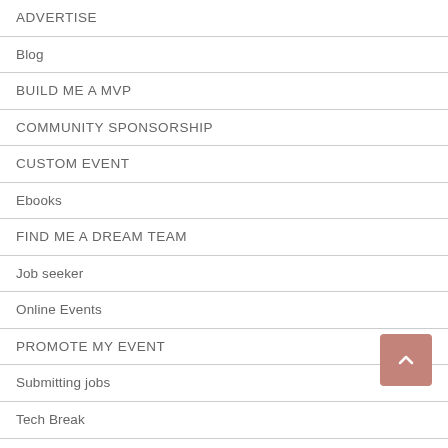ADVERTISE
Blog
BUILD ME A MVP
COMMUNITY SPONSORSHIP
CUSTOM EVENT
Ebooks
FIND ME A DREAM TEAM
Job seeker
Online Events
PROMOTE MY EVENT
Submitting jobs
Tech Break
TECH JOB FAIR